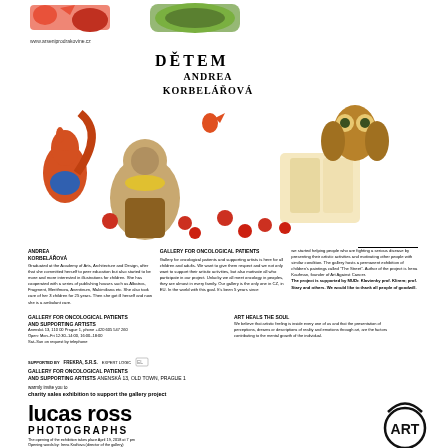[Figure (illustration): Colorful cartoon animal illustrations at the top of the page]
www.arseniprodrakovine.cz
DĚTEM
ANDREA KORBELÁŘOVÁ
[Figure (illustration): Colorful illustrated animals including a squirrel, bear, mice, an owl with a book, and other fairy-tale characters]
ANDREA KORBELÁŘOVÁ
Graduated at the Academy of Arts, Architecture and Design, after that she committed herself to peer education bags but also started to be more and more interested in illustrations for children. She has cooperated with a series of publishing houses such as Albatros, Fragment, Meritfmora, Aventinum, Makimiliana etc. She also took care of her 3 children for 25 years. Then she got ill herself and now she is a ambulant care.
GALLERY FOR ONCOLOGICAL PATIENTS
Gallery for oncological patients and supporting artists is here for all children and adults. We want to give them respect and we not only want to support their artistic activities, but also motivate all who participate in our project. Unlucky we all meet oncology in peoples, they are almost in every family. Our gallery is the only one in CZ, in EU. In the world with this goal. It's been 5 years since
we started helping people who are fighting a serious disease by presenting their artistic activities and motivating other people with similar condition. The gallery hosts a permanent exhibition of children's paintings called "The Street". Author of the project is Irena Kaufman, founder of Art Against Cancer. The project is supported by MUDr. Klavtenky prof. Klirem; prof. Stary and others. We would like to thank all people of goodwill.
GALLERY FOR ONCOLOGICAL PATIENTS AND SUPPORTING ARTISTS
Anenská 13, 110 00 Prague 1, phone +420 605 547 260
Open: Mon–Fri 12:30–14:00, 16:00–18:00
Sat–Sun on request by telephone
ART HEALS THE SOUL
We believe that artistic feeling is inside every one of us and that the presentation of perceptions, dreams or descriptions of reality and emotions through art, are the factors contributing to the mental growth of the individual.
SUPPORTED BY   FREKRA, S.R.S.   EXPERT LOGIC
GALLERY FOR ONCOLOGICAL PATIENTS AND SUPPORTING ARTISTS
Anenská 13, Old Town, Prague 1
warmly invite you to
charity sales exhibition to support the gallery project
lucas ross
PHOTOGRAPHS
[Figure (logo): ART circular logo with stylized text ART inside a circle with swoosh]
The opening of the exhibition takes place April 19, 2018 at 7 pm
Opening words by: Irena Kraftova (director of the gallery)